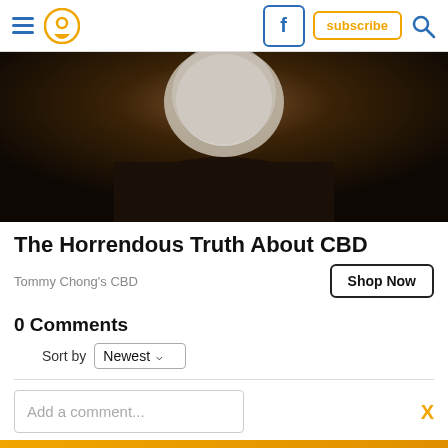Navigation bar with hamburger menu, location pin icon, Facebook icon, subscribe button, search icon
[Figure (photo): Dark photo of an elderly man with white hair, mostly silhouetted against a dark background]
The Horrendous Truth About CBD
Tommy Chong's CBD
Shop Now
0 Comments
Sort by Newest
Add a comment...
[Figure (infographic): Advertisement banner: Over 25 Years in Business. On Time and Honest]
Facebook Comments Plugin